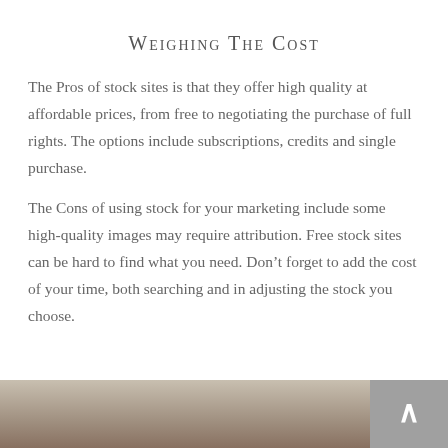Weighing The Cost
The Pros of stock sites is that they offer high quality at affordable prices, from free to negotiating the purchase of full rights. The options include subscriptions, credits and single purchase.
The Cons of using stock for your marketing include some high-quality images may require attribution. Free stock sites can be hard to find what you need. Don’t forget to add the cost of your time, both searching and in adjusting the stock you choose.
[Figure (photo): Partial photo strip at bottom of page showing blurred outdoor scene, with a grey scroll-to-top button on the right]